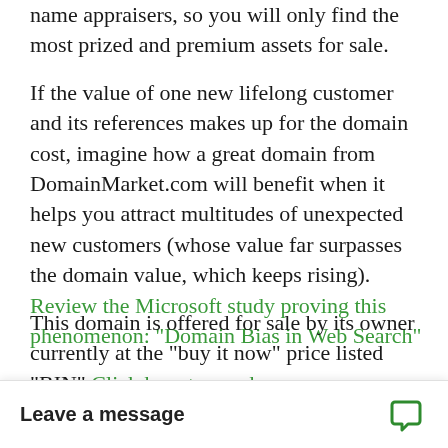name appraisers, so you will only find the most prized and premium assets for sale.
If the value of one new lifelong customer and its references makes up for the domain cost, imagine how a great domain from DomainMarket.com will benefit when it helps you attract multitudes of unexpected new customers (whose value far surpasses the domain value, which keeps rising). Review the Microsoft study proving this phenomenon: "Domain Bias in Web Search"
This domain is offered for sale by its owner currently at the "buy it now" price listed "BIN" Click here to purchase CasinoMiraflores.com, but could be withdrawn at any time or its price potentially substantially raised. Also, once sold, the next owner, your domain competi... again, especially to hi...
Leave a message